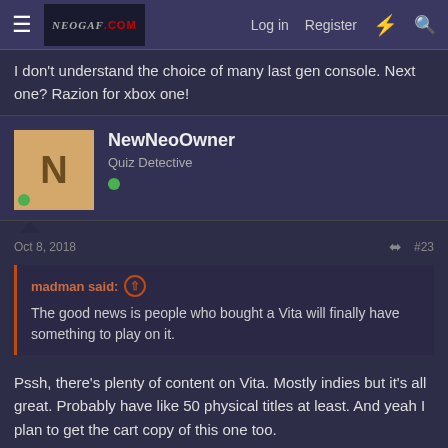NEOGAF.COM | Log in | Register
I don't understand the choice of many last gen console. Next one? Razion for xbox one!
NewNeoOwner
Quiz Detective
Oct 8, 2018   #23
madman said: ↑
The good news is people who bought a Vita will finally have something to play on it.
Pssh, there's plenty of content on Vita. Mostly indies but it's all great. Probably have like 50 physical titles at least. And yeah I plan to get the cart copy of this one too.
LoneSage
A Broken Man | 15 Year Member